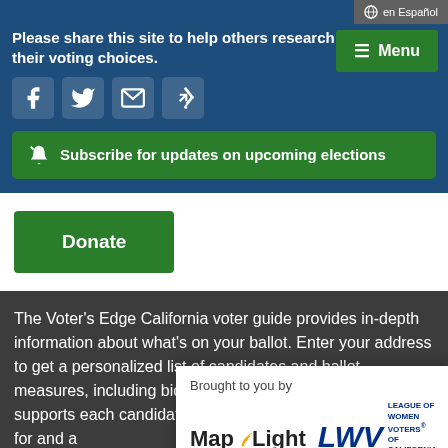en Español
Please share this site to help others research their voting choices.
☰ Menu
[Figure (other): Social media share icons: Facebook, Twitter, Email, Share]
Subscribe for updates on upcoming elections
Donate
The Voter's Edge California voter guide provides in-depth information about what's on your ballot. Enter your address to get a personalized list of candidates and ballot measures, including biographies, top priorities, who supports each candidate, and money for and a...
Brought to you by
[Figure (logo): MapLight logo with wifi signal icon]
[Figure (logo): League of Women Voters of California Education Fund logo]